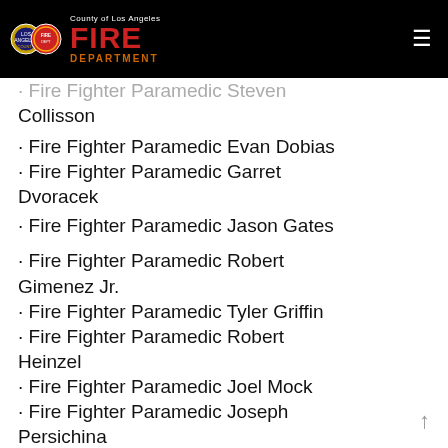County of Los Angeles Fire Department
Fire Fighter Paramedic Steven Collisson
Fire Fighter Paramedic Evan Dobias
Fire Fighter Paramedic Garret Dvoracek
Fire Fighter Paramedic Jason Gates
Fire Fighter Paramedic Robert Gimenez Jr.
Fire Fighter Paramedic Tyler Griffin
Fire Fighter Paramedic Robert Heinzel
Fire Fighter Paramedic Joel Mock
Fire Fighter Paramedic Joseph Persichina